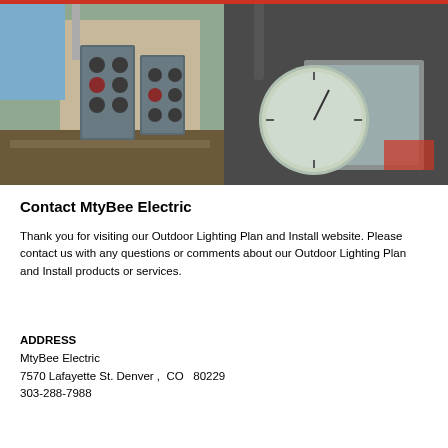[Figure (photo): Two electrical photos at top: left shows an electrical panel on a building exterior; right shows a close-up of electrical meter or fittings.]
Contact MtyBee Electric
Thank you for visiting our Outdoor Lighting Plan and Install website. Please contact us with any questions or comments about our Outdoor Lighting Plan and Install products or services.
ADDRESS
MtyBee Electric
7570 Lafayette St. Denver ,  CO   80229
303-288-7988